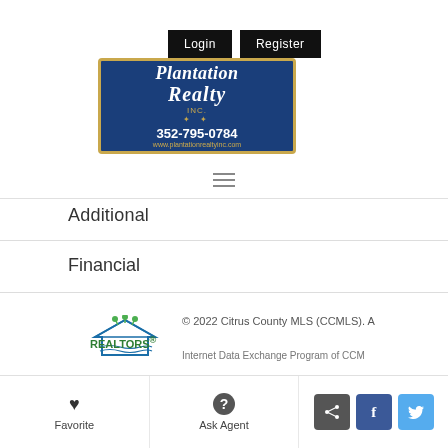[Figure (logo): Plantation Realty Inc. logo — dark blue background with gold border, text: Plantation Realty Inc., phone 352-795-0784, website www.plantationrealtyinc.com]
Login  Register
Additional
Financial
[Figure (logo): Small REALTORS logo with house and palm trees icon]
© 2022 Citrus County MLS (CCMLS). A
REALTORS® Internet Data Exchange Program of CCM
Favorite   Ask Agent   Share   Facebook   Twitter